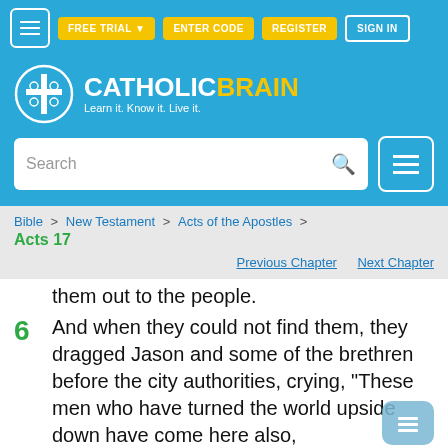[Figure (screenshot): CatholicBrain website header with navigation bar containing hamburger menu, FREE TRIAL, ENTER CODE, REGISTER, and SIGN IN buttons, logo with brain cross icon and text 'CATHOLICBRAIN Learn it. Know it. Live it.', search bar, and right-side menu button]
Bible > New Testament > Acts of the Apostles > Acts 17
Previous Chapter   Next Chapter
them out to the people.
6 And when they could not find them, they dragged Jason and some of the brethren before the city authorities, crying, "These men who have turned the world upside down have come here also,